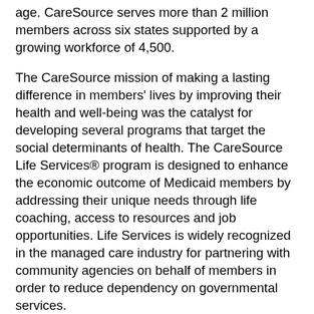age. CareSource serves more than 2 million members across six states supported by a growing workforce of 4,500.
The CareSource mission of making a lasting difference in members' lives by improving their health and well-being was the catalyst for developing several programs that target the social determinants of health. The CareSource Life Services® program is designed to enhance the economic outcome of Medicaid members by addressing their unique needs through life coaching, access to resources and job opportunities. Life Services is widely recognized in the managed care industry for partnering with community agencies on behalf of members in order to reduce dependency on governmental services.
In the battle against the opioid epidemic, CareSource has launched a multifaceted approach to decrease opioids and increase access to treatment. This effort includes an award-winning prescriber outreach program in addition to pharmacy edits and pharmacy lock-in which have resulted in a significant